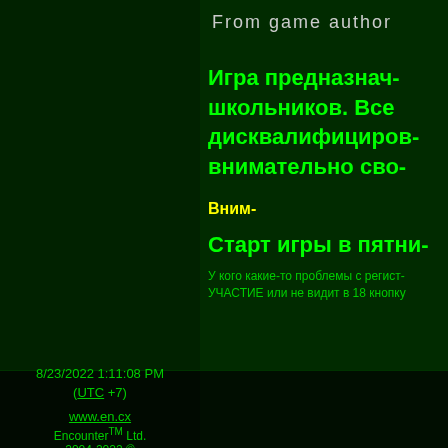From game author
Игра предназнач- школьников. Все дисквалифициров- внимательно сво-
Вним-
Старт игры в пятни-
У кого какие-то проблемы с регист- УЧАСТИЕ или не видит в 18 кнопку
8/23/2022 1:11:08 PM (UTC +7)
www.en.cx
Encounter™ Ltd.
2004-2022 ©